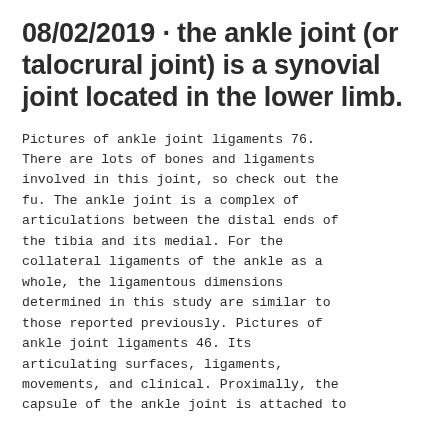08/02/2019 · the ankle joint (or talocrural joint) is a synovial joint located in the lower limb.
Pictures of ankle joint ligaments 76. There are lots of bones and ligaments involved in this joint, so check out the fu. The ankle joint is a complex of articulations between the distal ends of the tibia and its medial. For the collateral ligaments of the ankle as a whole, the ligamentous dimensions determined in this study are similar to those reported previously. Pictures of ankle joint ligaments 46. Its articulating surfaces, ligaments, movements, and clinical. Proximally, the capsule of the ankle joint is attached to